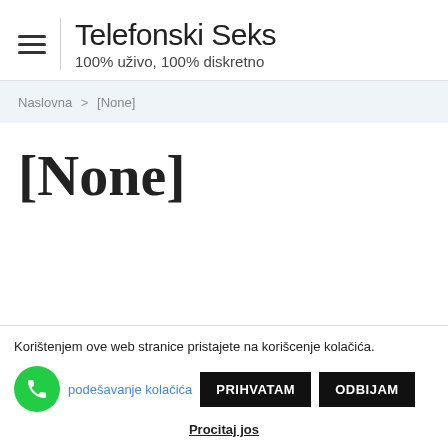Telefonski Seks | 100% uživo, 100% diskretno
Naslovna > [None]
[None]
Korištenjem ove web stranice pristajete na korišcenje kolačića.
podešavanje kolačića
PRIHVATAM
ODBIJAM
Procitaj jos